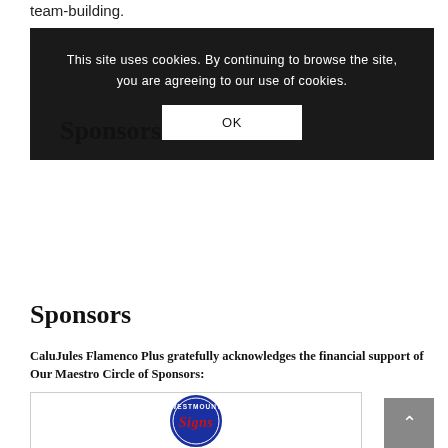team-building.
[Figure (screenshot): Cookie consent banner with dark background reading: 'This site uses cookies. By continuing to browse the site, you are agreeing to our use of cookies.' with an OK button.]
Sponsors
CaluJules Flamenco Plus gratefully acknowledges the financial support of Our Maestro Circle of Sponsors:
[Figure (logo): Westmount Signs circular logo with blue background, white text 'WESTMOUNT' at top and red script 'Signs' in center.]